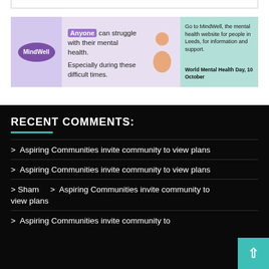[Figure (infographic): MindWell mental health awareness banner. Left: purple MindWell logo on lavender background. Centre: text 'Anyone can struggle with their mental health. Especially during these difficult times.' Right: teal panel with text 'Go to MindWell, the mental health website for people in Leeds, for information and support. World Mental Health Day, 10 October']
RECENT COMMENTS:
> Aspiring Communities invite community to view plans
> Aspiring Communities invite community to view plans
> Sham > Aspiring Communities invite community to view plans
> Aspiring Communities invite community to